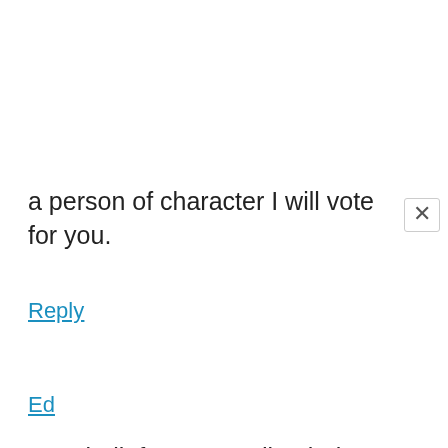a person of character I will vote for you.
Reply
Ed
Your beliefs on spending belong more in the Libertarian column than Republican. Same can be said for social tolerance.

As long as it's optional, school prayer is fine. I'd rather it be more of an opt-in than an opt-out though. Environment is also fine. Most